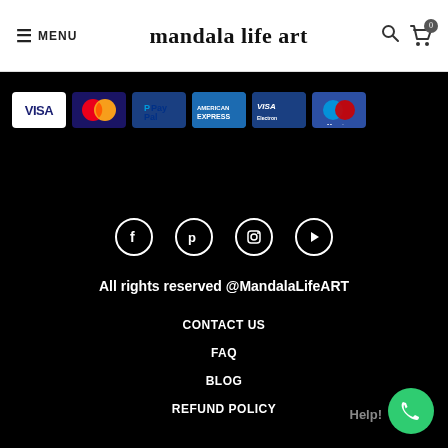≡ MENU  mandala life art
[Figure (logo): Payment method icons: Visa, MasterCard, PayPal, American Express, Visa Electron, Maestro]
[Figure (infographic): Social media icons: Facebook, Pinterest, Instagram, YouTube]
All rights reserved @MandalaLifeART
CONTACT US
FAQ
BLOG
REFUND POLICY
[Figure (infographic): WhatsApp Help button (green circle with phone icon) with 'Help!' label]